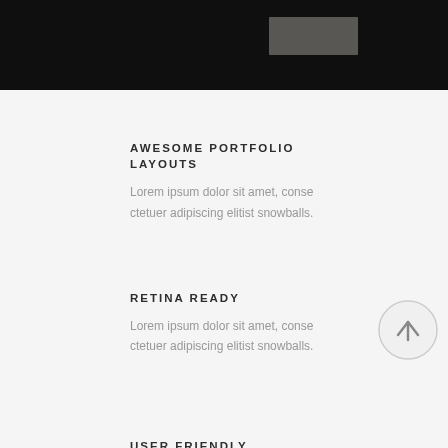[Figure (photo): Dark textured banner image (black/dark grey crumpled or stone texture) with a light grey rectangular highlight shape in the upper right area]
AWESOME PORTFOLIO LAYOUTS
Lorem ipsum dolor sit amet, conse ctetuer adipiscing elitist snowballs.
RETINA READY
Lorem ipsum dolor sit amet, conse ctetuer adipiscing elitist snowballs.
USER FRIENDLY